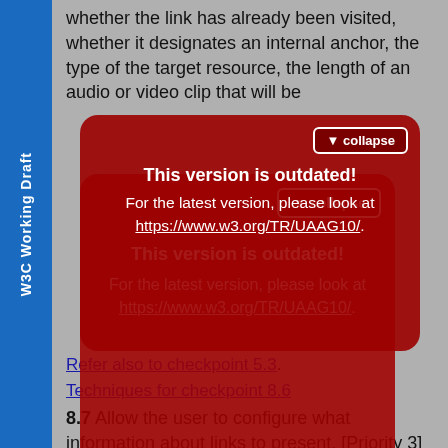W3C Working Draft
whether the link has already been visited, whether it designates an internal anchor, the type of the target resource, the length of an audio or video clip that will be
[Figure (screenshot): Red modal overlay with 'This version is outdated!' warning, collapse button, and link to https://www.w3.org/TR/UAAG10/]
Refer also to checkpoint 5.3.
Techniques for checkpoint 8.6
8.7 Allow the user to configure what information about links to present. [Priority 3]
Note. Using color as the only distinguishing factor between visited and unvisited links does not suffice since color may not be perceivable by all users or rendered by all devices. Refer also to checkpoint 8.5.